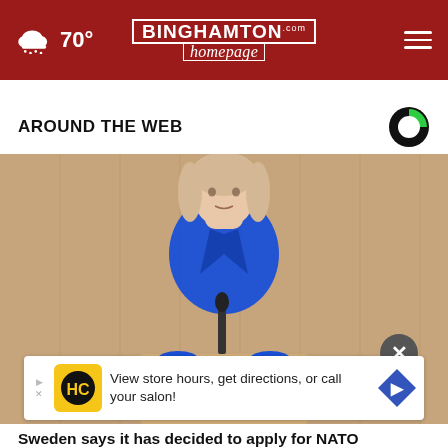70° — Binghamtonhomepage.com — navigation menu
AROUND THE WEB
[Figure (photo): Woman in blue blazer speaking at a podium in a parliamentary setting with wood-paneled walls]
[Figure (infographic): Advertisement: View store hours, get directions, or call your salon!]
Sweden says it has decided to apply for NATO